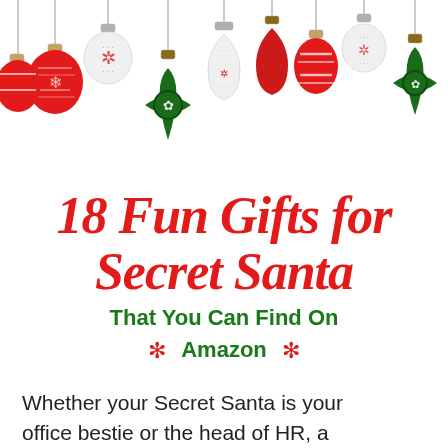[Figure (illustration): Christmas ornaments hanging from top of page — red, white, green ornaments of various shapes including round balls, teardrop shapes, and star-patterned ornaments with Nordic/snowflake designs]
18 Fun Gifts for Secret Santa
That You Can Find On Amazon
Whether your Secret Santa is your office bestie or the head of HR, a